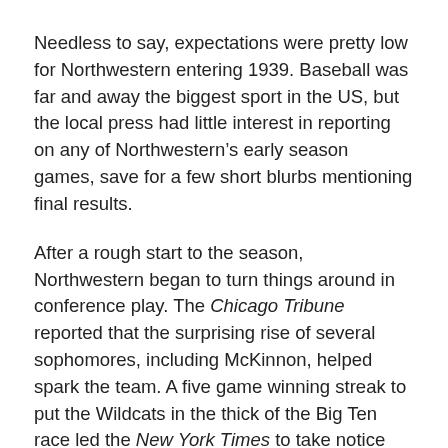Needless to say, expectations were pretty low for Northwestern entering 1939. Baseball was far and away the biggest sport in the US, but the local press had little interest in reporting on any of Northwestern’s early season games, save for a few short blurbs mentioning final results.
After a rough start to the season, Northwestern began to turn things around in conference play. The Chicago Tribune reported that the surprising rise of several sophomores, including McKinnon, helped spark the team. A five game winning streak to put the Wildcats in the thick of the Big Ten race led the New York Times to take notice and include a short story on the team in mid-May.
To be sure, George McKinnon was hardly the